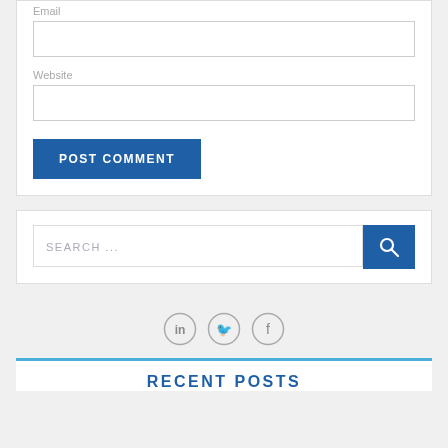Email
Website
POST COMMENT
SEARCH ...
[Figure (infographic): Social media icons: LinkedIn, Twitter, Facebook in circular outlines]
RECENT POSTS